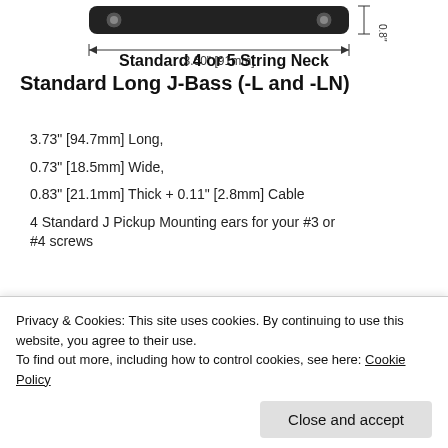[Figure (engineering-diagram): Technical drawing of a pickup (top view) with dimension annotation 3.60" [91mm] width shown with arrows, and a vertical dimension on the right side. The pickup is shown as a black rectangular component with two circular mounting points.]
Standard 4 or 5 String Neck
Standard Long J-Bass (-L and -LN)
3.73" [94.7mm] Long,
0.73" [18.5mm] Wide,
0.83" [21.1mm] Thick + 0.11" [2.8mm] Cable
4 Standard J Pickup Mounting ears for your #3 or #4 screws
[Figure (engineering-diagram): Partial technical drawing of another pickup variant shown at the bottom, partially obscured by cookie consent bar.]
Privacy & Cookies: This site uses cookies. By continuing to use this website, you agree to their use.
To find out more, including how to control cookies, see here: Cookie Policy
Close and accept